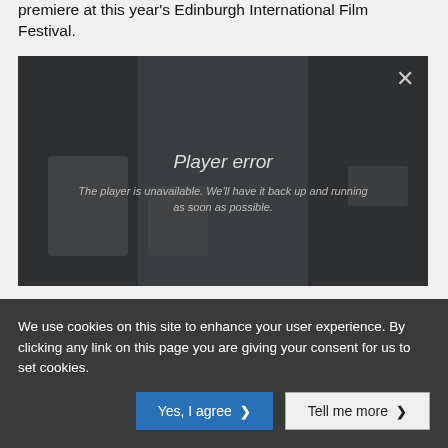premiere at this year's Edinburgh International Film Festival.
[Figure (screenshot): Video player showing a 'Player error' message. The player is grayed out with a blurred background image. Text reads 'Player error' and 'The player is unavailable. We'll have it back up and running as soon as possible.' A close (X) button is in the top-right corner.]
We use cookies on this site to enhance your user experience. By clicking any link on this page you are giving your consent for us to set cookies.